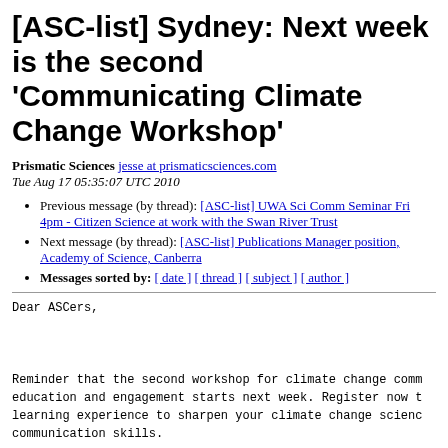[ASC-list] Sydney: Next week is the second 'Communicating Climate Change Workshop'
Prismatic Sciences jesse at prismaticsciences.com
Tue Aug 17 05:35:07 UTC 2010
Previous message (by thread): [ASC-list] UWA Sci Comm Seminar Fri 4pm - Citizen Science at work with the Swan River Trust
Next message (by thread): [ASC-list] Publications Manager position, Academy of Science, Canberra
Messages sorted by: [ date ] [ thread ] [ subject ] [ author ]
Dear ASCers,



Reminder that the second workshop for climate change comm education and engagement starts next week. Register now t learning experience to sharpen your climate change scienc communication skills.